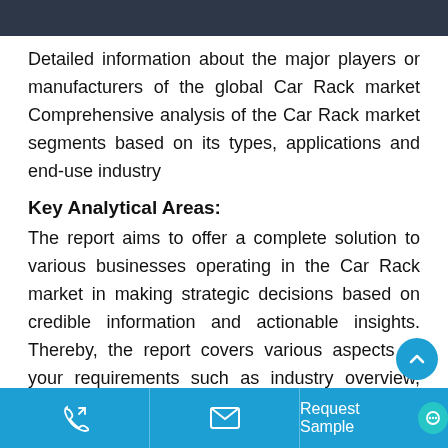Detailed information about the major players or manufacturers of the global Car Rack market Comprehensive analysis of the Car Rack market segments based on its types, applications and end-use industry
Key Analytical Areas:
The report aims to offer a complete solution to various businesses operating in the Car Rack market in making strategic decisions based on credible information and actionable insights. Thereby, the report covers various aspects of your requirements such as industry overview, mar
Request Sample